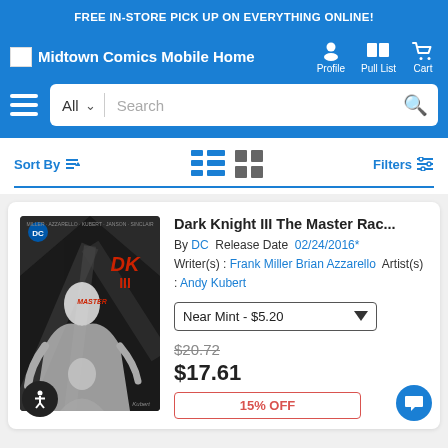FREE IN-STORE PICK UP ON EVERYTHING ONLINE!
[Figure (screenshot): Midtown Comics Mobile Home navigation bar with Profile, Pull List, and Cart icons]
All  Search
Sort By  Filters
Dark Knight III The Master Rac... By DC Release Date 02/24/2016* Writer(s): Frank Miller Brian Azzarello Artist(s): Andy Kubert Near Mint - $5.20 $20.72 $17.61 15% OFF